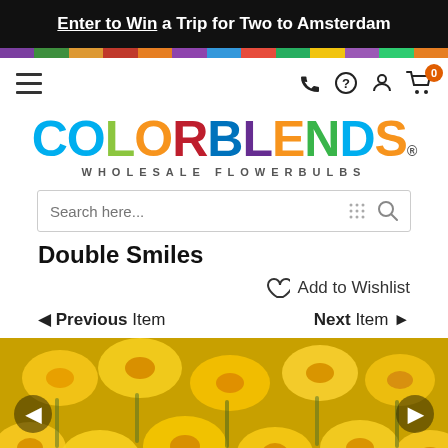Enter to Win a Trip for Two to Amsterdam
[Figure (logo): COLORBLENDS Wholesale Flowerbulbs logo with multicolor lettering]
Search here...
Double Smiles
Add to Wishlist
◄ Previous Item    Next Item ►
[Figure (photo): Close-up photo of bright yellow double daffodil flowers (Double Smiles variety) in full bloom]